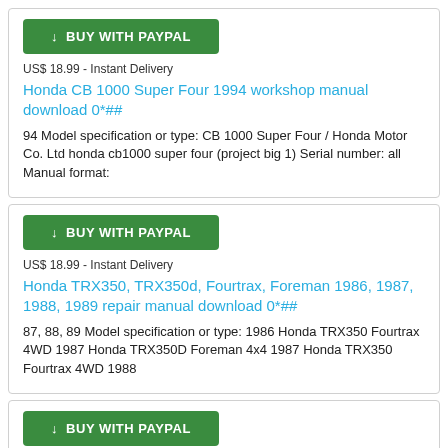[Figure (other): Green Buy with PayPal button]
US$ 18.99 - Instant Delivery
Honda CB 1000 Super Four 1994 workshop manual download 0*##
94 Model specification or type: CB 1000 Super Four / Honda Motor Co. Ltd honda cb1000 super four (project big 1) Serial number: all Manual format:
[Figure (other): Green Buy with PayPal button]
US$ 18.99 - Instant Delivery
Honda TRX350, TRX350d, Fourtrax, Foreman 1986, 1987, 1988, 1989 repair manual download 0*##
87, 88, 89 Model specification or type: 1986 Honda TRX350 Fourtrax 4WD 1987 Honda TRX350D Foreman 4x4 1987 Honda TRX350 Fourtrax 4WD 1988
[Figure (other): Green Buy with PayPal button]
US$ 18.99 - Instant Delivery
Honda Fourtrax 350, TRX350, TRX350d 1986, 1987...